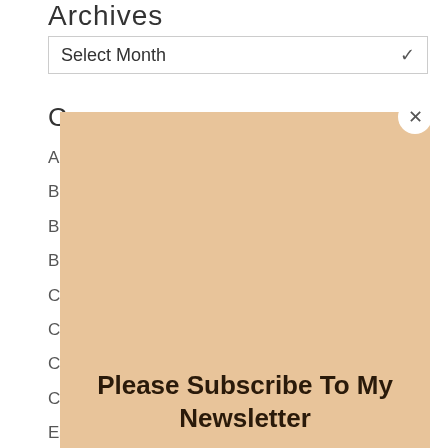Archives
Select Month
C
A
Bl
Be
B
Cl
Cl
Cr
Cr
Es
In
In
[Figure (other): Tan/beige overlay popup panel with close button (x) and newsletter subscription message]
Please Subscribe To My Newsletter